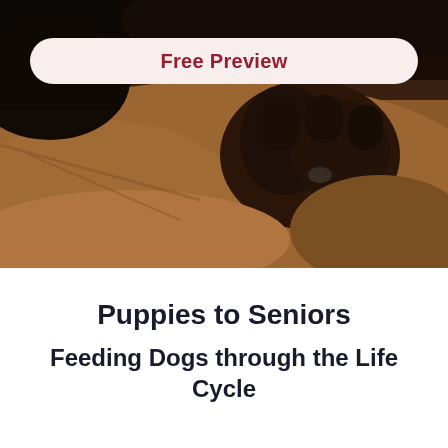[Figure (photo): Close-up photograph of a dog, showing dark and tan fur with a paw visible, warm brown tones with shallow depth of field]
Free Preview
Puppies to Seniors
Feeding Dogs through the Life Cycle